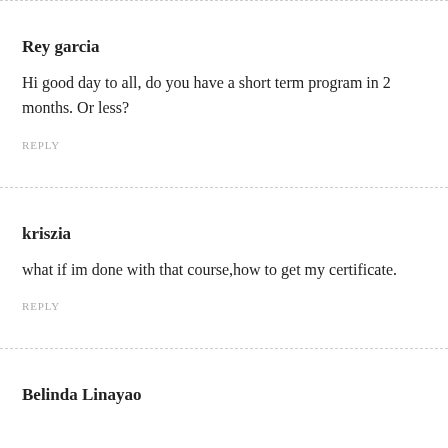Rey garcia
Hi good day to all, do you have a short term program in 2 months. Or less?
REPLY
kriszia
what if im done with that course,how to get my certificate.
REPLY
Belinda Linayao